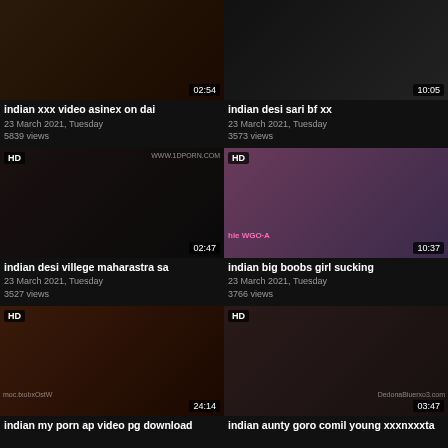[Figure (screenshot): Video thumbnail grid showing 6 video cards in 2 columns, each with a thumbnail image, HD badge, duration, title, date, and view count]
indian xxx video asinex on dai
23 March 2021, Tuesday
5839 views
indian desi sari bf xx
23 March 2021, Tuesday
3573 views
indian desi villege maharastra sa
23 March 2021, Tuesday
3527 views
indian big boobs girl sucking
23 March 2021, Tuesday
3766 views
indian my porn ap video pg download
indian aunty goro comil young xxxnxxxta